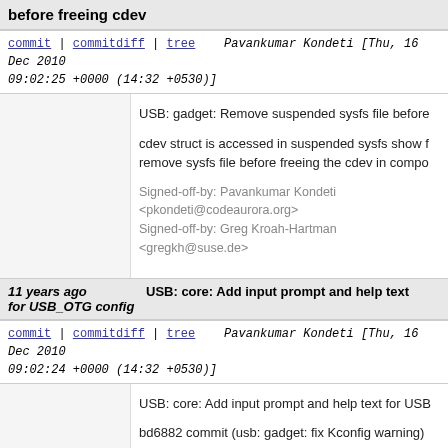before freeing cdev
commit | commitdiff | tree   Pavankumar Kondeti [Thu, 16 Dec 2010 09:02:25 +0000 (14:32 +0530)]
USB: gadget: Remove suspended sysfs file before

cdev struct is accessed in suspended sysfs show function. So remove sysfs file before freeing the cdev in compo

Signed-off-by: Pavankumar Kondeti <pkondeti@codeaurora.org>
Signed-off-by: Greg Kroah-Hartman <gregkh@suse.de>
11 years ago   USB: core: Add input prompt and help text for USB_OTG config
commit | commitdiff | tree   Pavankumar Kondeti [Thu, 16 Dec 2010 09:02:24 +0000 (14:32 +0530)]
USB: core: Add input prompt and help text for USB

bd6882 commit (usb: gadget: fix Kconfig warning) the duplicate USB_OTG config from gadget/Kconf does not copy the input prompt and help text to the config defined in core/Kconfig. Add them now.

Signed-off-by: Pavankumar Kondeti <pkondeti@codeaurora.org>
Signed-off-by: Greg Kroah-Hartman